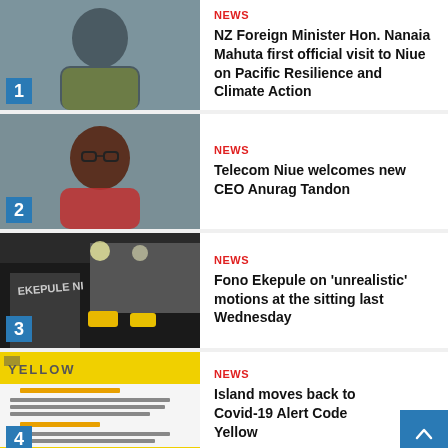[Figure (photo): Portrait photo of a person, numbered 1]
NEWS
NZ Foreign Minister Hon. Nanaia Mahuta first official visit to Niue on Pacific Resilience and Climate Action
[Figure (photo): Portrait photo of a man with glasses, numbered 2]
NEWS
Telecom Niue welcomes new CEO Anurag Tandon
[Figure (photo): Photo of Fono Ekepule building, numbered 3]
NEWS
Fono Ekepule on 'unrealistic' motions at the sitting last Wednesday
[Figure (photo): Yellow alert code image, numbered 4]
NEWS
Island moves back to Covid-19 Alert Code Yellow